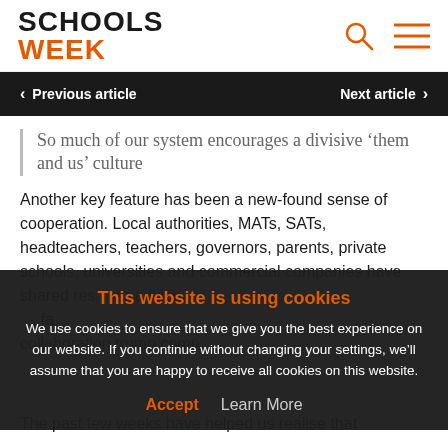SCHOOLS WEEK
Previous article | Next article
So much of our system encourages a divisive ‘them and us’ culture
Another key feature has been a new-found sense of cooperation. Local authorities, MATs, SATs, headteachers, teachers, governors, parents, private schools, universities and commercial companies have shared res… er advice, … fa… collaboration trump comp…
This website is using cookies
We use cookies to ensure that we give you the best experience on our website. If you continue without changing your settings, we’ll assume that you are happy to receive all cookies on this website.
Accept   Learn More
The past few weeks have helped us realise that …